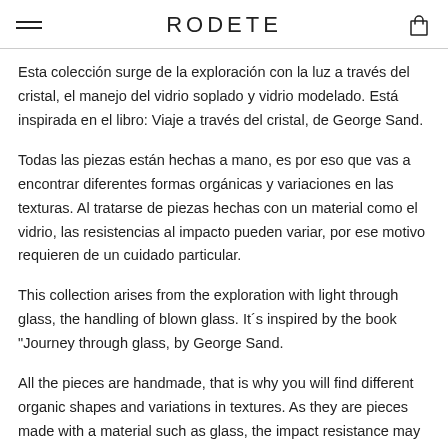RODETE
Esta colección surge de la exploración con la luz a través del cristal, el manejo del vidrio soplado y vidrio modelado. Está inspirada en el libro: Viaje a través del cristal, de George Sand.
Todas las piezas están hechas a mano, es por eso que vas a encontrar diferentes formas orgánicas y variaciones en las texturas. Al tratarse de piezas hechas con un material como el vidrio, las resistencias al impacto pueden variar, por ese motivo requieren de un cuidado particular.
This collection arises from the exploration with light through glass, the handling of blown glass. It´s inspired by the book "Journey through glass, by George Sand.
All the pieces are handmade, that is why you will find different organic shapes and variations in textures. As they are pieces made with a material such as glass, the impact resistance may